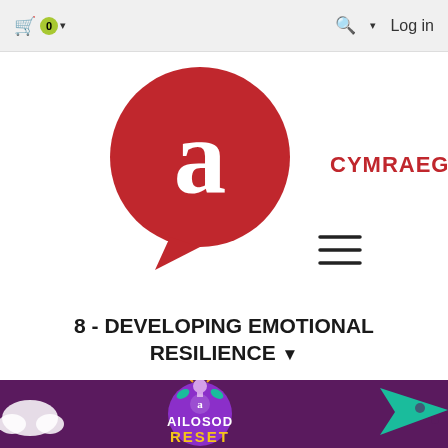🛒 0 ▾   🔍 ▾   Log in
[Figure (logo): Red speech-bubble logo with white lowercase 'a' inside, and CYMRAEG link to the right, hamburger menu below]
8 - DEVELOPING EMOTIONAL RESILIENCE ▾
[Figure (illustration): Dark purple banner with 'AILOSOD RESET' text, light bulb illustration, teal arrow, clouds, and the 'a' logo mark]